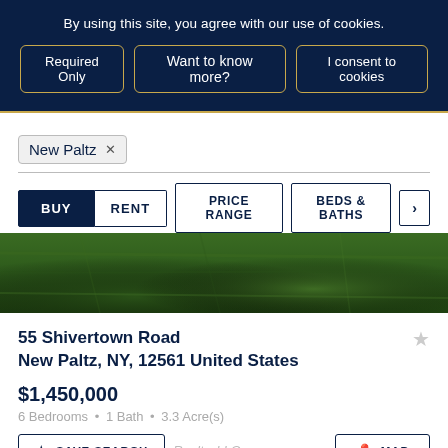By using this site, you agree with our use of cookies.
Required Only | Want to know more? | I consent to cookies
New Paltz ×
BUY  RENT  PRICE RANGE  BEDS & BATHS  >
[Figure (photo): Aerial view of green grass lawn for a property listing]
55 Shivertown Road
New Paltz, NY, 12561 United States
$1,450,000
6 Bedrooms • 1 Bath • 3.3 Acre(s)
SAVE SEARCH   Realty, LLC   MAP